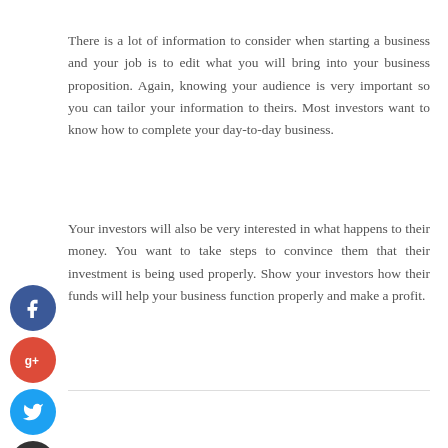There is a lot of information to consider when starting a business and your job is to edit what you will bring into your business proposition. Again, knowing your audience is very important so you can tailor your information to theirs. Most investors want to know how to complete your day-to-day business.
Your investors will also be very interested in what happens to their money. You want to take steps to convince them that their investment is being used properly. Show your investors how their funds will help your business function properly and make a profit.
[Figure (other): Social media sharing icons: Facebook (blue circle with f), Google+ (red circle with g+), Twitter (light blue circle with bird), and a dark plus/add circle]